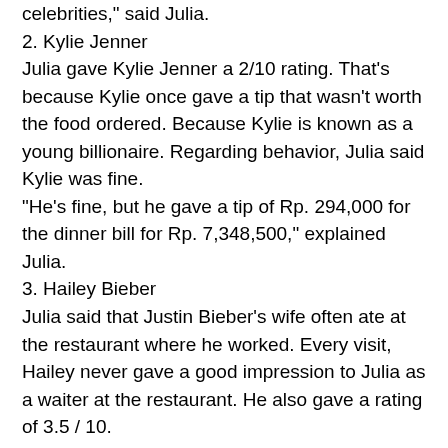celebrities," said Julia.
2. Kylie Jenner
Julia gave Kylie Jenner a 2/10 rating. That's because Kylie once gave a tip that wasn't worth the food ordered. Because Kylie is known as a young billionaire. Regarding behavior, Julia said Kylie was fine.
"He's fine, but he gave a tip of Rp. 294,000 for the dinner bill for Rp. 7,348,500," explained Julia.
3. Hailey Bieber
Julia said that Justin Bieber's wife often ate at the restaurant where he worked. Every visit, Hailey never gave a good impression to Julia as a waiter at the restaurant. He also gave a rating of 3.5 / 10.
"It will be controversial. I have met him several times and every time he comes, he is always not good," said Julia.
This TikTok video reached Hailey Bieber's ears. Hailey also apologized to the former servant for his behavior.